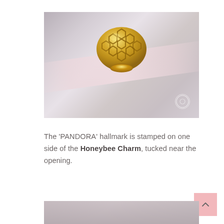[Figure (photo): Close-up photo of a gold Pandora Honeybee Charm with hexagonal honeycomb pattern, threaded on a pink ribbon/cord against a soft gray background. A circular watermark is visible in the bottom-right corner of the image.]
The 'PANDORA' hallmark is stamped on one side of the Honeybee Charm, tucked near the opening.
[Figure (photo): Partial bottom crop of a second close-up photo showing fingers holding the gold Pandora Honeybee Charm, similar style to the top image.]